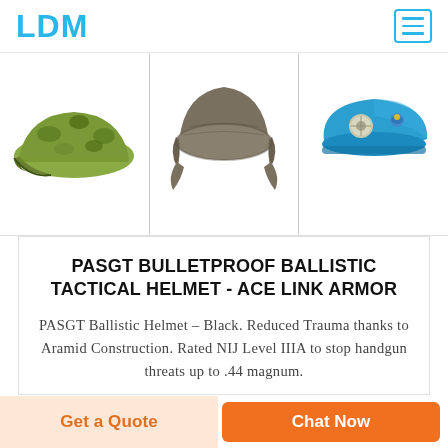LDM
[Figure (photo): Three military hats displayed side by side: a camouflage cap on the left, a grey/brown ushanka-style field cap in the center, and a blue beret with badge on the right.]
PASGT BULLETPROOF BALLISTIC TACTICAL HELMET - ACE LINK ARMOR
PASGT Ballistic Helmet – Black. Reduced Trauma thanks to Aramid Construction. Rated NIJ Level IIIA to stop handgun threats up to .44 magnum.